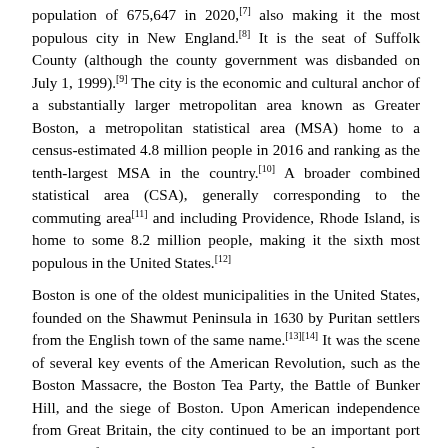population of 675,647 in 2020,[7] also making it the most populous city in New England.[8] It is the seat of Suffolk County (although the county government was disbanded on July 1, 1999).[9] The city is the economic and cultural anchor of a substantially larger metropolitan area known as Greater Boston, a metropolitan statistical area (MSA) home to a census-estimated 4.8 million people in 2016 and ranking as the tenth-largest MSA in the country.[10] A broader combined statistical area (CSA), generally corresponding to the commuting area[11] and including Providence, Rhode Island, is home to some 8.2 million people, making it the sixth most populous in the United States.[12]
Boston is one of the oldest municipalities in the United States, founded on the Shawmut Peninsula in 1630 by Puritan settlers from the English town of the same name.[13][14] It was the scene of several key events of the American Revolution, such as the Boston Massacre, the Boston Tea Party, the Battle of Bunker Hill, and the siege of Boston. Upon American independence from Great Britain, the city continued to be an important port and manufacturing hub as well as a center for education and culture.[15][16] The city has expanded